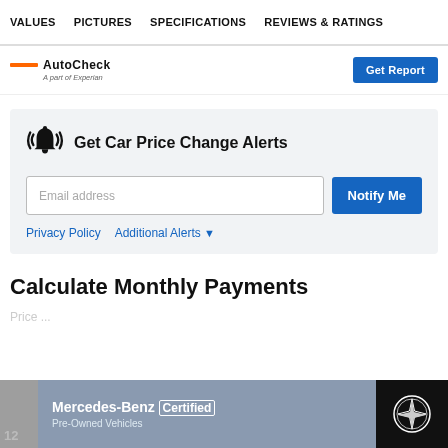VALUES   PICTURES   SPECIFICATIONS   REVIEWS & RATINGS
[Figure (logo): AutoCheck a part of Experian logo with orange bar, partially obscured. 'Get Report' blue button on the right.]
Get Car Price Change Alerts
Email address
Notify Me
Privacy Policy   Additional Alerts
Calculate Monthly Payments
[Figure (advertisement): Mercedes-Benz Certified Pre-Owned Vehicles advertisement banner at the bottom. Gray background with Mercedes-Benz logo on black.]